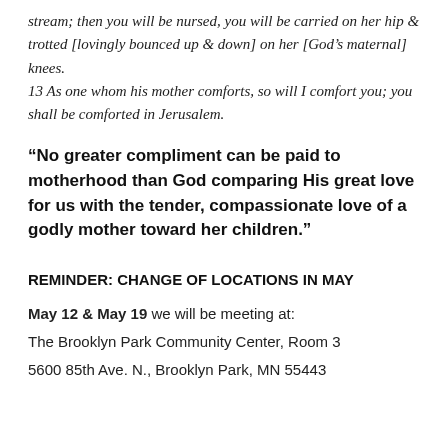stream; then you will be nursed, you will be carried on her hip & trotted [lovingly bounced up & down] on her [God’s maternal] knees.
13 As one whom his mother comforts, so will I comfort you; you shall be comforted in Jerusalem.
“No greater compliment can be paid to motherhood than God comparing His great love for us with the tender, compassionate love of a godly mother toward her children.”
REMINDER: CHANGE OF LOCATIONS IN MAY
May 12 & May 19 we will be meeting at:
The Brooklyn Park Community Center, Room 3
5600 85th Ave. N., Brooklyn Park, MN 55443